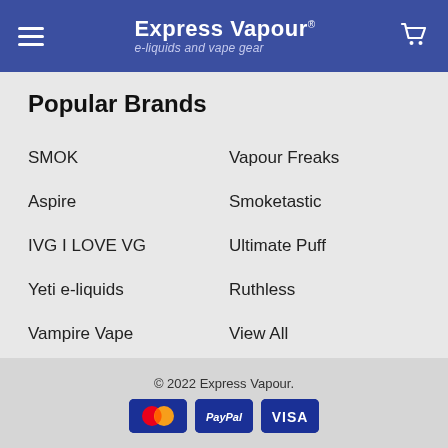Express Vapour — e-liquids and vape gear
Popular Brands
SMOK
Vapour Freaks
Aspire
Smoketastic
IVG I LOVE VG
Ultimate Puff
Yeti e-liquids
Ruthless
Vampire Vape
View All
© 2022 Express Vapour.